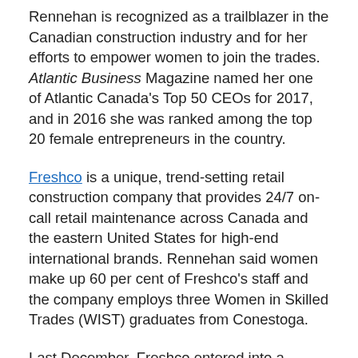Rennehan is recognized as a trailblazer in the Canadian construction industry and for her efforts to empower women to join the trades. Atlantic Business Magazine named her one of Atlantic Canada's Top 50 CEOs for 2017, and in 2016 she was ranked among the top 20 female entrepreneurs in the country.
Freshco is a unique, trend-setting retail construction company that provides 24/7 on-call retail maintenance across Canada and the eastern United States for high-end international brands. Rennehan said women make up 60 per cent of Freshco's staff and the company employs three Women in Skilled Trades (WIST) graduates from Conestoga.
Last December, Freshco entered into a partnership with the college to provide WIST students with bursaries to subsidize their living expenses. During her address, Rennehan said the partnership has meant a